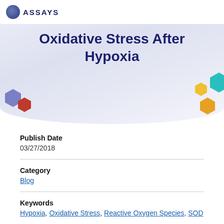ASSAYS
Oxidative Stress After Hypoxia
Publish Date
03/27/2018
Category
Blog
Keywords
Hypoxia, Oxidative Stress, Reactive Oxygen Species, SOD